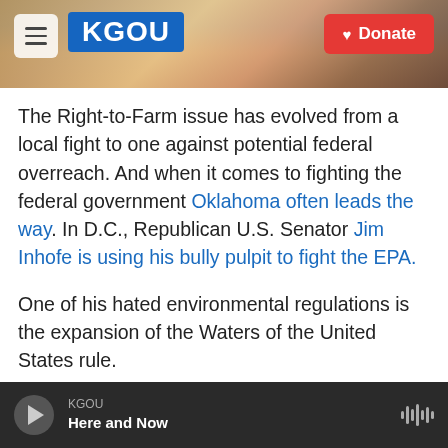KGOU header with menu button, KGOU logo, and Donate button
The Right-to-Farm issue has evolved from a local fight to one against potential federal overreach. And when it comes to fighting the federal government Oklahoma often leads the way. In D.C., Republican U.S. Senator Jim Inhofe is using his bully pulpit to fight the EPA.
One of his hated environmental regulations is the expansion of the Waters of the United States rule.
“That would be an absolute disaster for our farmers and our ranchers,” Inhofe told StateImpact in December.
KGOU · Here and Now (audio player)